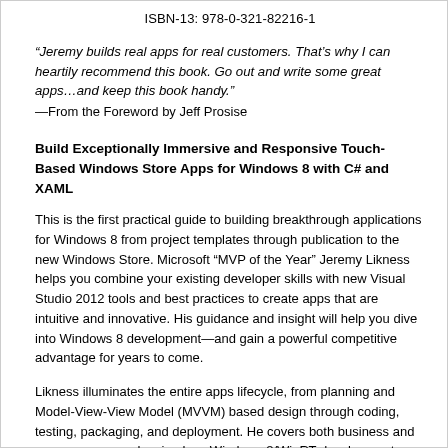ISBN-13: 978-0-321-82216-1
“Jeremy builds real apps for real customers. That’s why I can heartily recommend this book. Go out and write some great apps…and keep this book handy.”
—From the Foreword by Jeff Prosise
Build Exceptionally Immersive and Responsive Touch-Based Windows Store Apps for Windows 8 with C# and XAML
This is the first practical guide to building breakthrough applications for Windows 8 from project templates through publication to the new Windows Store. Microsoft “MVP of the Year” Jeremy Likness helps you combine your existing developer skills with new Visual Studio 2012 tools and best practices to create apps that are intuitive and innovative. His guidance and insight will help you dive into Windows 8 development—and gain a powerful competitive advantage for years to come.
Likness illuminates the entire apps lifecycle, from planning and Model-View-View Model (MVVM) based design through coding, testing, packaging, and deployment. He covers both business and consumer apps, showing how Windows 8/WinRT development builds